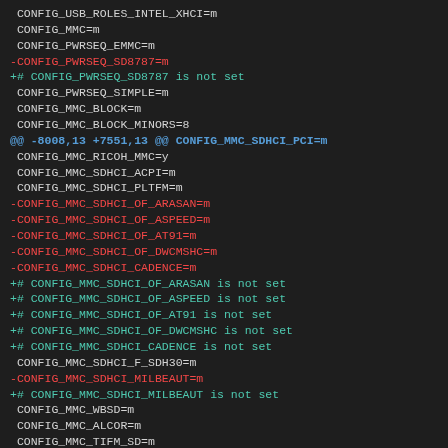CONFIG_USB_ROLES_INTEL_XHCI=m
 CONFIG_MMC=m
 CONFIG_PWRSEQ_EMMC=m
-CONFIG_PWRSEQ_SD8787=m
+# CONFIG_PWRSEQ_SD8787 is not set
 CONFIG_PWRSEQ_SIMPLE=m
 CONFIG_MMC_BLOCK=m
 CONFIG_MMC_BLOCK_MINORS=8
@@ -8008,13 +7551,13 @@ CONFIG_MMC_SDHCI_PCI=m
 CONFIG_MMC_RICOH_MMC=y
 CONFIG_MMC_SDHCI_ACPI=m
 CONFIG_MMC_SDHCI_PLTFM=m
-CONFIG_MMC_SDHCI_OF_ARASAN=m
-CONFIG_MMC_SDHCI_OF_ASPEED=m
-CONFIG_MMC_SDHCI_OF_AT91=m
-CONFIG_MMC_SDHCI_OF_DWCMSHC=m
-CONFIG_MMC_SDHCI_CADENCE=m
+# CONFIG_MMC_SDHCI_OF_ARASAN is not set
+# CONFIG_MMC_SDHCI_OF_ASPEED is not set
+# CONFIG_MMC_SDHCI_OF_AT91 is not set
+# CONFIG_MMC_SDHCI_OF_DWCMSHC is not set
+# CONFIG_MMC_SDHCI_CADENCE is not set
 CONFIG_MMC_SDHCI_F_SDH30=m
-CONFIG_MMC_SDHCI_MILBEAUT=m
+# CONFIG_MMC_SDHCI_MILBEAUT is not set
 CONFIG_MMC_WBSD=m
 CONFIG_MMC_ALCOR=m
 CONFIG_MMC_TIFM_SD=m
@@ -8032,9 +7575,8 @@ CONFIG_MMC_HSQ=m
 CONFIG_MMC_TOSHIBA_PCI=m